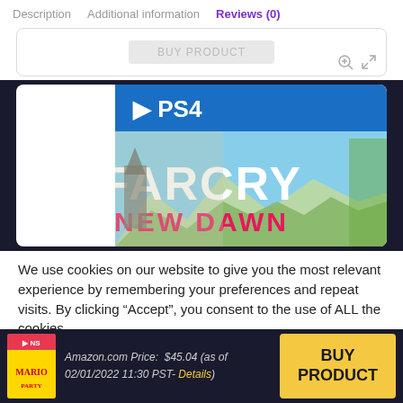Description   Additional information   Reviews (0)
[Figure (screenshot): Upper white card area with ghost BUY PRODUCT button and zoom/expand icons]
[Figure (photo): Far Cry New Dawn PS4 game cover art showing the game title on a blue PS4 branded background with stylized landscape]
We use cookies on our website to give you the most relevant experience by remembering your preferences and repeat visits. By clicking “Accept”, you consent to the use of ALL the cookies.
Do not sell my personal information.
Amazon.com Price:  $45.04 (as of 02/01/2022 11:30 PST- Details)